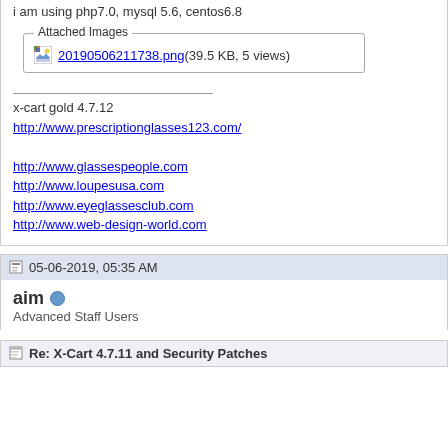i am using php7.0, mysql 5.6, centos6.8
[Figure (other): Attached Images box containing link to 20190506211738.png (39.5 KB, 5 views)]
x-cart gold 4.7.12
http://www.prescriptionglasses123.com/

http://www.glassespeople.com
http://www.loupesusa.com
http://www.eyeglassesclub.com
http://www.web-design-world.com
05-06-2019, 05:35 AM
aim
Advanced Staff Users
Re: X-Cart 4.7.11 and Security Patches